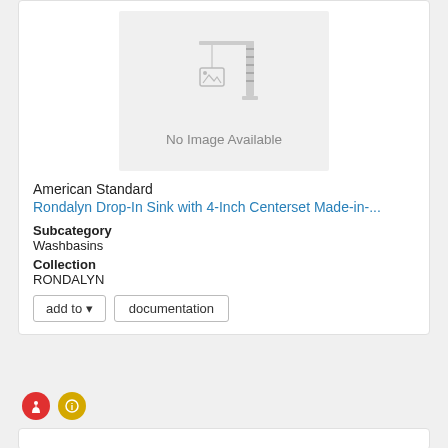[Figure (illustration): No Image Available placeholder with crane icon]
American Standard
Rondalyn Drop-In Sink with 4-Inch Centerset Made-in-...
Subcategory
Washbasins
Collection
RONDALYN
add to   documentation